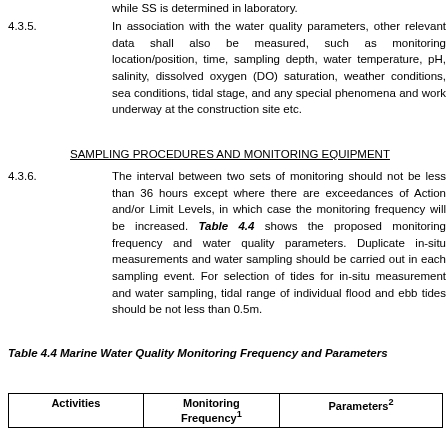while SS is determined in laboratory.
4.3.5. In association with the water quality parameters, other relevant data shall also be measured, such as monitoring location/position, time, sampling depth, water temperature, pH, salinity, dissolved oxygen (DO) saturation, weather conditions, sea conditions, tidal stage, and any special phenomena and work underway at the construction site etc.
SAMPLING PROCEDURES AND MONITORING EQUIPMENT
4.3.6. The interval between two sets of monitoring should not be less than 36 hours except where there are exceedances of Action and/or Limit Levels, in which case the monitoring frequency will be increased. Table 4.4 shows the proposed monitoring frequency and water quality parameters. Duplicate in-situ measurements and water sampling should be carried out in each sampling event. For selection of tides for in-situ measurement and water sampling, tidal range of individual flood and ebb tides should be not less than 0.5m.
Table 4.4 Marine Water Quality Monitoring Frequency and Parameters
| Activities | Monitoring Frequency¹ | Parameters² |
| --- | --- | --- |